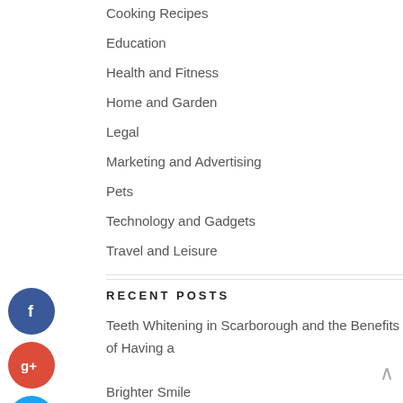Cooking Recipes
Education
Health and Fitness
Home and Garden
Legal
Marketing and Advertising
Pets
Technology and Gadgets
Travel and Leisure
RECENT POSTS
Teeth Whitening in Scarborough and the Benefits of Having a Brighter Smile